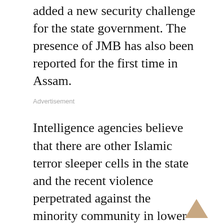added a new security challenge for the state government. The presence of JMB has also been reported for the first time in Assam.
Advertisement
Intelligence agencies believe that there are other Islamic terror sleeper cells in the state and the recent violence perpetrated against the minority community in lower Assam could have radicalised a section of Muslim youths in the districts bordering Bangladesh. Police have identified some districts having considerable Muslim population — Dhubri, Goalpara, Kokrajhar and Karimganj – as vulnerable to Islamic terrorism. Police suspect that these bordering districts may have been intruded by radical Islamic ideologues and jihadi outfits.
Bangladesh has emerged as the major coordinating